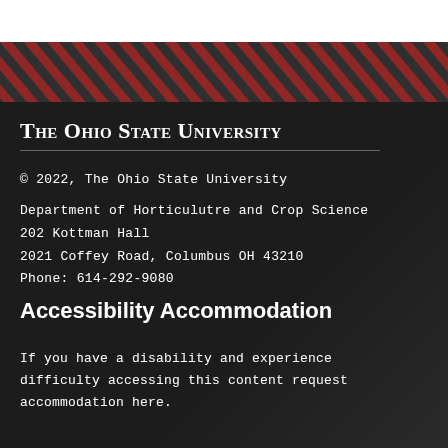The Ohio State University
© 2022, The Ohio State University
Department of Horticulutre and Crop Science
202 Kottman Hall
2021 Coffey Road, Columbus OH 43210
Phone: 614-292-9080
Accessibility Accommodation
If you have a disability and experience difficulty accessing this content request accommodation here.